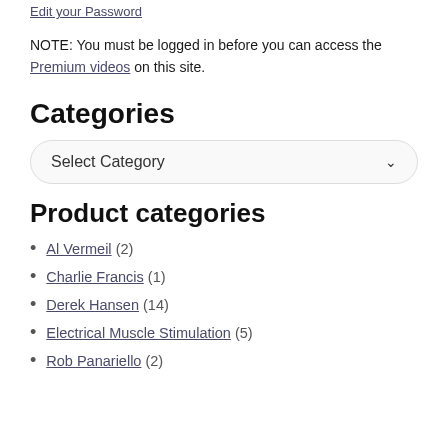NOTE: You must be logged in before you can access the Premium videos on this site.
Categories
[Figure (screenshot): Dropdown selector labelled 'Select Category' with a chevron/arrow on the right, inside a rounded rectangle box.]
Product categories
Al Vermeil (2)
Charlie Francis (1)
Derek Hansen (14)
Electrical Muscle Stimulation (5)
Rob Panariello (2)